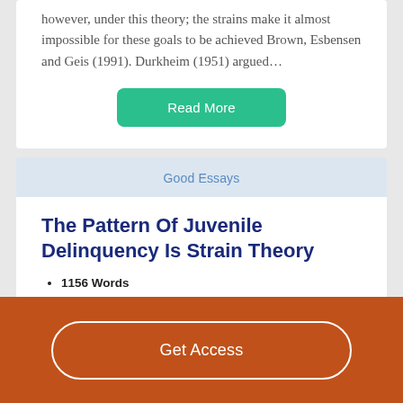however, under this theory; the strains make it almost impossible for these goals to be achieved Brown, Esbensen and Geis (1991). Durkheim (1951) argued…
Read More
Good Essays
The Pattern Of Juvenile Delinquency Is Strain Theory
1156 Words
5 Pages
the use of Strain theory describes how an individual can...
Get Access